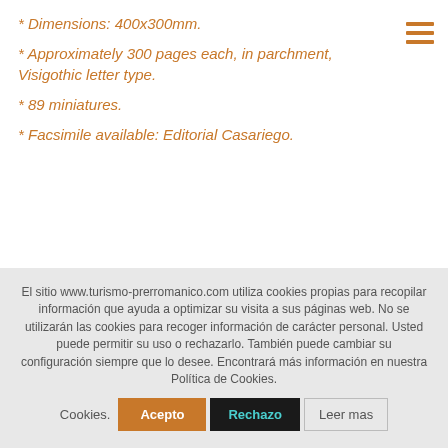* Dimensions: 400x300mm.
* Approximately 300 pages each, in parchment, Visigothic letter type.
* 89 miniatures.
* Facsimile available: Editorial Casariego.
El sitio www.turismo-prerromanico.com utiliza cookies propias para recopilar información que ayuda a optimizar su visita a sus páginas web. No se utilizarán las cookies para recoger información de carácter personal. Usted puede permitir su uso o rechazarlo. También puede cambiar su configuración siempre que lo desee. Encontrará más información en nuestra Política de Cookies.
Acepto | Rechazo | Leer mas